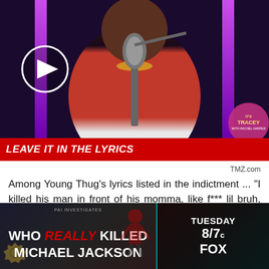[Figure (screenshot): Video thumbnail showing a person in a red patterned jacket and white shirt at a microphone, with purple neon bars in background and a play button overlay. TMZ's 'Tracey' logo visible bottom right.]
LEAVE IT IN THE LYRICS
TMZ.com
Among Young Thug's lyrics listed in the indictment ... "I killed his man in front of his momma, like f*** lil bruh, sister and his cousin," and "my trigger start itching."
[Figure (screenshot): Advertisement banner for 'Who Really Killed Michael Jackson' on Fox, Tuesday 8/7c. Dark background with split panel design and teal divider.]